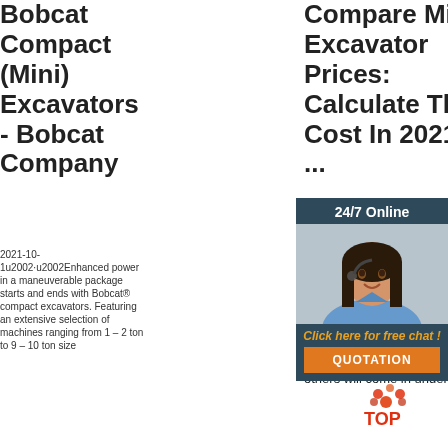Bobcat Compact (Mini) Excavators - Bobcat Company
2021-10-1u2002·u2002Enhanced power in a maneuverable package starts and ends with Bobcat® compact excavators. Featuring an extensive selection of machines ranging from 1 – 2 ton to 9 – 10 ton size
Compare Mini Excavator Prices: Calculate The Cost In 2021 ...
The features of each excavator help determine the price point, too. In general, a good middle-range price to expect is $29,600 – $48,000. Some will cost quite a bit more, while others will come in under that
Mini Excavators For Sale
One of the differences over excavators weighing as c equi read you mini right for your needs, there are a few other features to consider, including the following:
[Figure (infographic): Chat widget with '24/7 Online' header, photo of woman with headset, 'Click here for free chat!' link, and orange QUOTATION button]